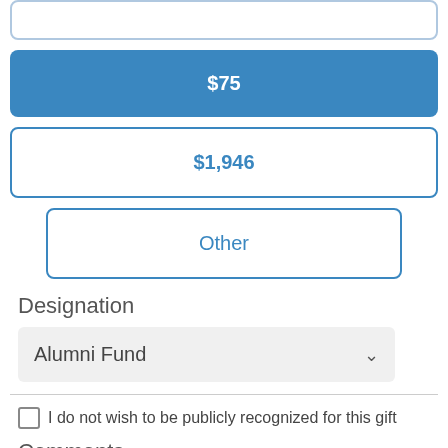[Figure (screenshot): Top input field with rounded border, partially visible at top of page]
$75
$1,946
Other
Designation
Alumni Fund
I do not wish to be publicly recognized for this gift
Comments